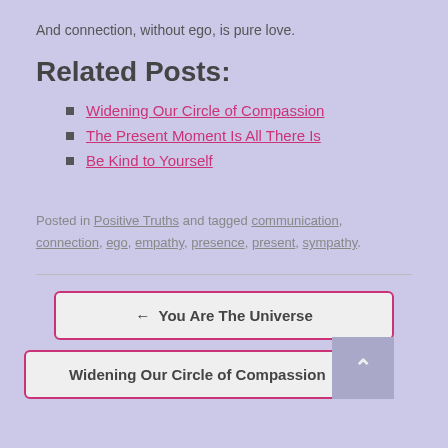And connection, without ego, is pure love.
Related Posts:
Widening Our Circle of Compassion
The Present Moment Is All There Is
Be Kind to Yourself
Posted in Positive Truths and tagged communication, connection, ego, empathy, presence, present, sympathy.
← You Are The Universe
Widening Our Circle of Compassion →